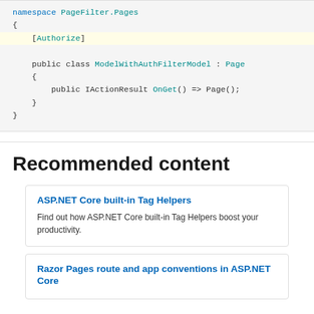[Figure (screenshot): Code block showing C# namespace PageFilter.Pages with [Authorize] attribute highlighted in yellow, public class ModelWithAuthFilterModel : Page, with public IActionResult OnGet() => Page(); method]
Recommended content
ASP.NET Core built-in Tag Helpers
Find out how ASP.NET Core built-in Tag Helpers boost your productivity.
Razor Pages route and app conventions in ASP.NET Core